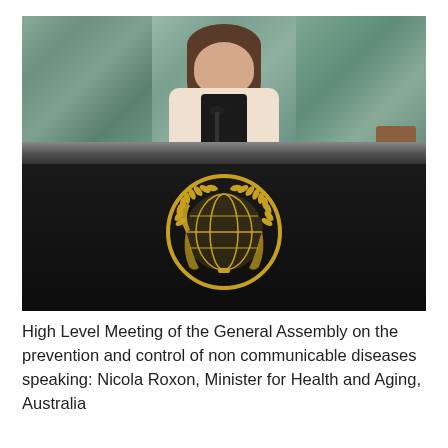[Figure (photo): A woman with brown hair in a white jacket speaks at a podium at the United Nations General Assembly. The upper half shows her standing at a microphone against marble panel walls. The lower half shows the dark wooden podium front with the gold UN emblem (laurel wreath globe) prominently displayed.]
High Level Meeting of the General Assembly on the prevention and control of non communicable diseases speaking: Nicola Roxon, Minister for Health and Aging, Australia